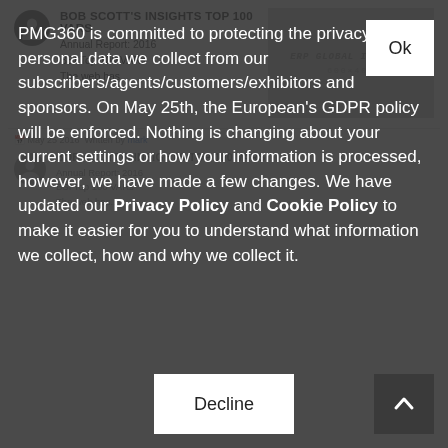BOB SCOTT'S INSIGHTS TOP 100 VARS
Annual Report: 2016
BSI Top 100 VARs
The web has...
[Figure (other): Placeholder image showing 'ERP GLOBAL INSIGHTS' text with 600x400 dimensions label on grey background]
May 25 2016  Written by mark
BOB SCOTT'S INSIGHTS TOP 100 VARS
Annual Report: 2016
BSI Top 100 VARs
The web has...
PMG360 is committed to protecting the privacy of the personal data we collect from our subscribers/agents/customers/exhibitors and sponsors. On May 25th, the European's GDPR policy will be enforced. Nothing is changing about your current settings or how your information is processed, however, we have made a few changes. We have updated our Privacy Policy and Cookie Policy to make it easier for you to understand what information we collect, how and why we collect it.